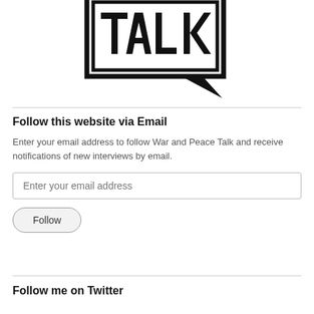[Figure (logo): War and Peace Talk logo - speech bubble containing bold letters T, A, L, K in a black outlined box with a pointing tail at bottom right]
Follow this website via Email
Enter your email address to follow War and Peace Talk and receive notifications of new interviews by email.
Follow me on Twitter